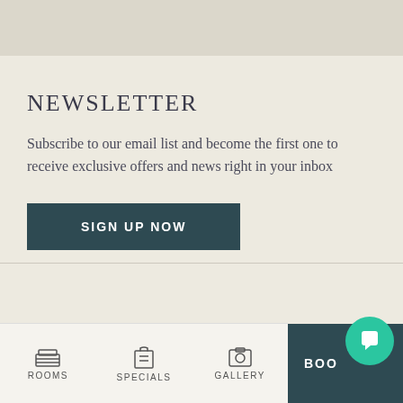[Figure (screenshot): Top grey navigation bar area]
NEWSLETTER
Subscribe to our email list and become the first one to receive exclusive offers and news right in your inbox
SIGN UP NOW
[Figure (screenshot): Bottom navigation bar with ROOMS, SPECIALS, GALLERY icons and BOOK button with chat bubble]
ROOMS  SPECIALS  GALLERY  BOOK